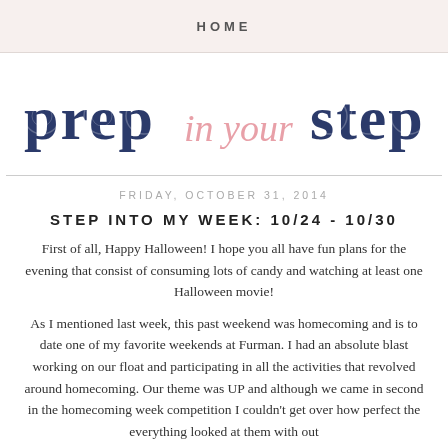HOME
[Figure (logo): Prep in Your Step blog logo with blue patterned letters for 'prep' and 'step' and pink cursive script for 'in your']
FRIDAY, OCTOBER 31, 2014
STEP INTO MY WEEK: 10/24 - 10/30
First of all, Happy Halloween! I hope you all have fun plans for the evening that consist of consuming lots of candy and watching at least one Halloween movie!
As I mentioned last week, this past weekend was homecoming and is to date one of my favorite weekends at Furman. I had an absolute blast working on our float and participating in all the activities that revolved around homecoming. Our theme was UP and although we came in second in the homecoming week competition I couldn't get over how perfect the everything looked at them with out